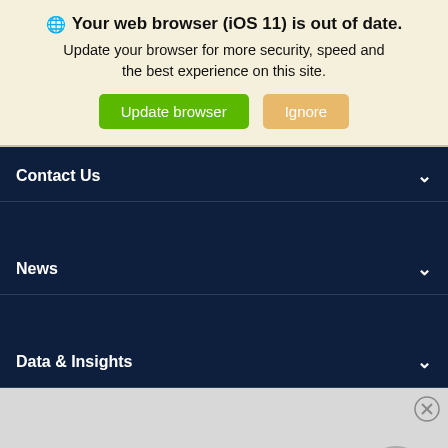🌐 Your web browser (iOS 11) is out of date. Update your browser for more security, speed and the best experience on this site. [Update browser] [Ignore]
Contact Us
News
Data & Insights